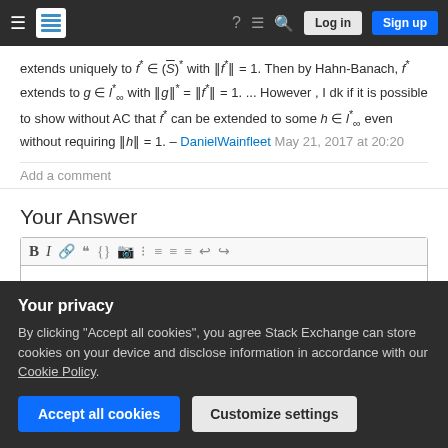Stack Exchange navigation bar with hamburger menu, logo, help, chat, search, Log in, Sign up
extends uniquely to f* ∈ (S̄)* with ‖f*‖ = 1. Then by Hahn-Banach, f* extends to g ∈ l*∞ with ‖g‖* = ‖f*‖ = 1. ... However , I dk if it is possible to show without AC that f* can be extended to some h ∈ l*∞ even without requiring ‖h‖ = 1. – DanielWainfleet May 21, 2017 at 20:20
Add a comment
Your Answer
[Figure (screenshot): Text editor toolbar with formatting buttons: B, I, link, blockquote, code, image, ordered list, unordered list, align left, align right, undo, redo]
Your privacy
By clicking "Accept all cookies", you agree Stack Exchange can store cookies on your device and disclose information in accordance with our Cookie Policy.
[Accept all cookies] [Customize settings]